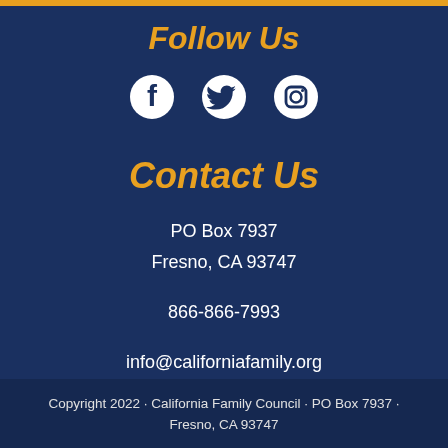Follow Us
[Figure (illustration): Three social media icons: Facebook, Twitter, Instagram in white on dark blue background]
Contact Us
PO Box 7937
Fresno, CA 93747
866-866-7993
info@californiafamily.org
Copyright 2022 • California Family Council • PO Box 7937 • Fresno, CA 93747